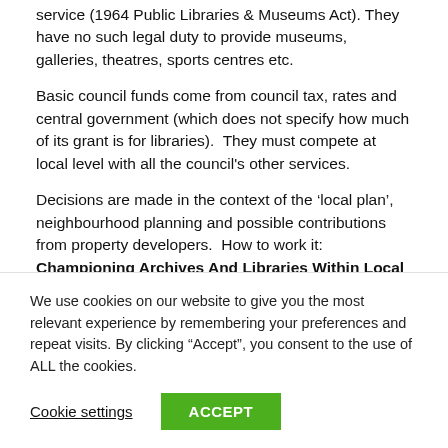service (1964 Public Libraries & Museums Act). They have no such legal duty to provide museums, galleries, theatres, sports centres etc.
Basic council funds come from council tax, rates and central government (which does not specify how much of its grant is for libraries).  They must compete at local level with all the council's other services.
Decisions are made in the context of the ‘local plan’, neighbourhood planning and possible contributions from property developers.  How to work it: Championing Archives And Libraries Within Local Planning  (from Arts Council England)
We use cookies on our website to give you the most relevant experience by remembering your preferences and repeat visits. By clicking “Accept”, you consent to the use of ALL the cookies.
Cookie settings
ACCEPT